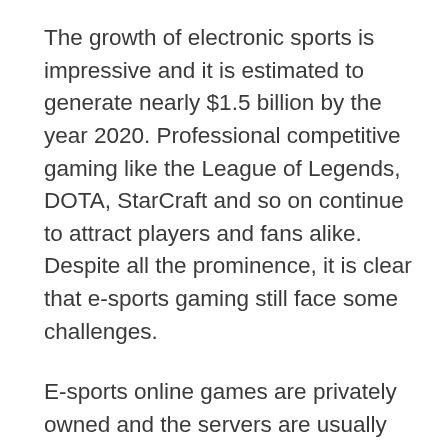The growth of electronic sports is impressive and it is estimated to generate nearly $1.5 billion by the year 2020. Professional competitive gaming like the League of Legends, DOTA, StarCraft and so on continue to attract players and fans alike. Despite all the prominence, it is clear that e-sports gaming still face some challenges.
E-sports online games are privately owned and the servers are usually owned by companies that make them. The biggest challenge with such a scenario is that it creates an overreliance on these companies since they can stop the game whenever they feel like. These companies may also decide to make changes without consulting you or even deny you access to the games for one reason or another.